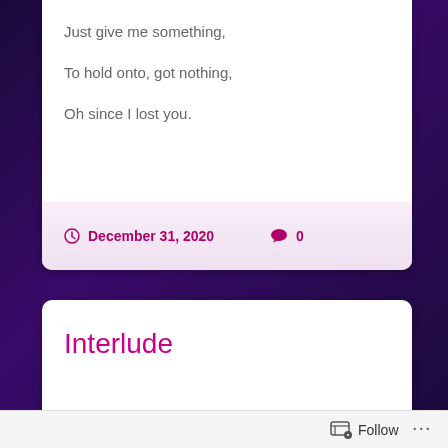Just give me something,
To hold onto, got nothing,
Oh since I lost you.
December 31, 2020   0
Interlude
Follow  ...